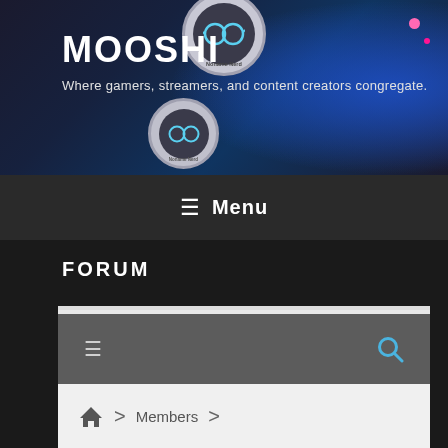[Figure (screenshot): Website header banner with dark blue/gaming background, circular avatar with glasses icon labeled 'Noname Nerd', pink accent dots on top right]
MOOSHI
Where gamers, streamers, and content creators congregate.
≡  Menu
FORUM
[Figure (screenshot): Forum interface showing dark toolbar with hamburger menu and blue search icon, breadcrumb navigation with home icon > Members >, and profile area with default user avatar silhouette]